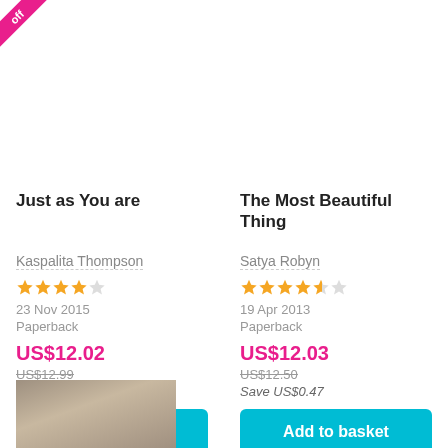[Figure (other): Pink discount ribbon/badge in top-left corner with 'off' text]
Just as You are
Kaspalita Thompson
★★★★☆ (4 stars)
23 Nov 2015
Paperback
US$12.02
US$12.99
Save US$0.97
Add to basket
The Most Beautiful Thing
Satya Robyn
★★★★½ (4.5 stars)
19 Apr 2013
Paperback
US$12.03
US$12.50
Save US$0.47
Add to basket
[Figure (photo): Partial book cover image at bottom of page]